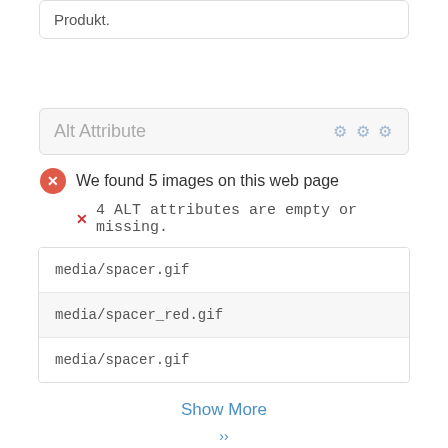Produkt.
Alt Attribute
We found 5 images on this web page
4 ALT attributes are empty or missing.
| media/spacer.gif |
| media/spacer_red.gif |
| media/spacer.gif |
Show More